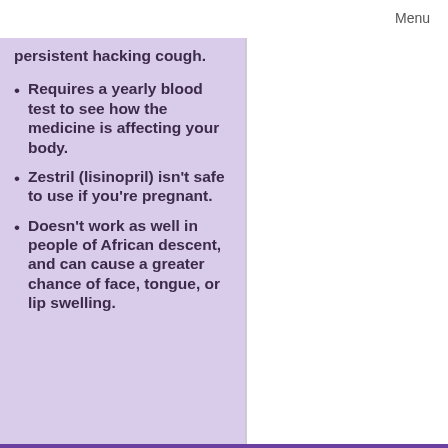Menu
persistent hacking cough.
Requires a yearly blood test to see how the medicine is affecting your body.
Zestril (lisinopril) isn't safe to use if you're pregnant.
Doesn't work as well in people of African descent, and can cause a greater chance of face, tongue, or lip swelling.